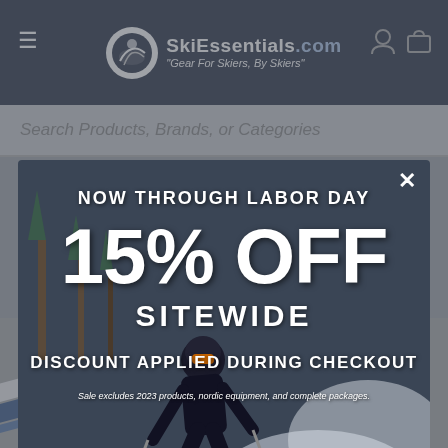SkiEssentials.com — "Gear For Skiers, By Skiers"
Search Products, Brands, or Categories
[Figure (screenshot): Modal popup overlay on SkiEssentials.com website showing a skier in action with promotional text: NOW THROUGH LABOR DAY 15% OFF SITEWIDE DISCOUNT APPLIED DURING CHECKOUT. Sale excludes 2023 products, nordic equipment, and complete packages.]
NOW THROUGH LABOR DAY
15% OFF
SITEWIDE
DISCOUNT APPLIED DURING CHECKOUT
Sale excludes 2023 products, nordic equipment, and complete packages.